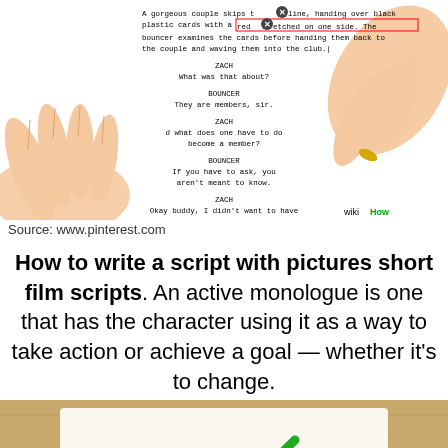[Figure (screenshot): A screenshot of a screenplay/script with hands holding a pen, overlaid on a white background. The script shows dialogue between ZACH and BOUNCER characters. A wikiHow watermark appears in the bottom right corner.]
Source: www.pinterest.com
How to write a script with pictures short film scripts. An active monologue is one that has the character using it as a way to take action or achieve a goal — whether it's to change.
[Figure (screenshot): Bottom portion of a wikiHow-style image with wood-grain border showing 'Script Writing Basics:' text with a green checkmark, on a cream background.]